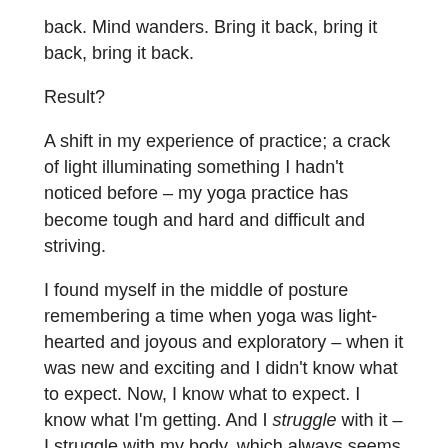back. Mind wanders. Bring it back, bring it back, bring it back.
Result?
A shift in my experience of practice; a crack of light illuminating something I hadn't noticed before – my yoga practice has become tough and hard and difficult and striving.
I found myself in the middle of posture remembering a time when yoga was light-hearted and joyous and exploratory – when it was new and exciting and I didn't know what to expect. Now, I know what to expect. I know what I'm getting. And I struggle with it – I struggle with my body, which always seems tight and rigid and sore and weak.